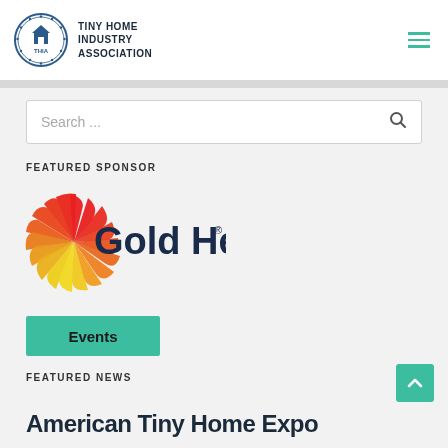TINY HOME INDUSTRY ASSOCIATION
Search ...
FEATURED SPONSOR
[Figure (logo): Gold Heat logo with colorful spiral sun rays in red, orange, and yellow, and dark navy text reading 'Gold Heat®']
Events
FEATURED NEWS
American Tiny Home Expo